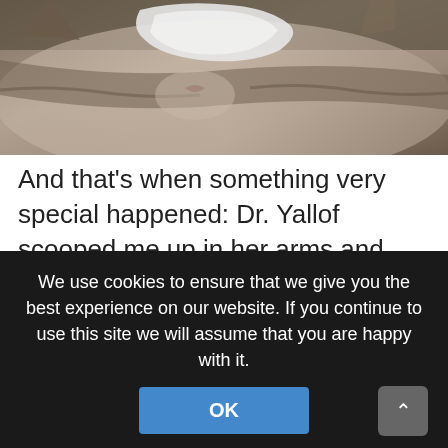[Figure (photo): Close-up photo of a cat with white cloth/bandage near its face, brownish-gray fur visible]
And that's when something very special happened: Dr. Yallof scooped me up in her arms and held me for what seemed like forever. I told you the people here are wonderful! So, anyway, I'm in great shape, except I do have to go back next week to get my teeth cleaned. But I think I can handle that if it means more hugs.
Tagged "nora the piano cat", dr. barrie yallof, queen
We use cookies to ensure that we give you the best experience on our website. If you continue to use this site we will assume that you are happy with it.